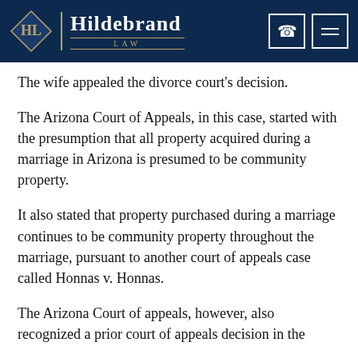Hildebrand LAW
The wife appealed the divorce court's decision.
The Arizona Court of Appeals, in this case, started with the presumption that all property acquired during a marriage in Arizona is presumed to be community property.
It also stated that property purchased during a marriage continues to be community property throughout the marriage, pursuant to another court of appeals case called Honnas v. Honnas.
The Arizona Court of appeals, however, also recognized a prior court of appeals decision in the